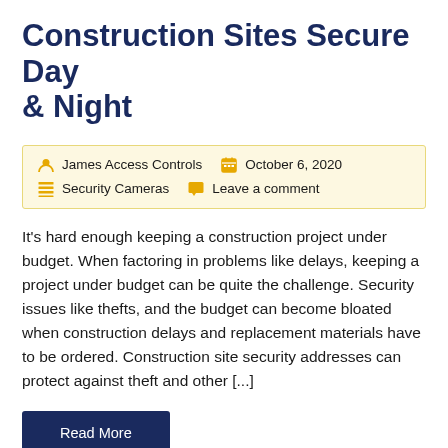Construction Sites Secure Day & Night
James Access Controls   October 6, 2020   Security Cameras   Leave a comment
It's hard enough keeping a construction project under budget. When factoring in problems like delays, keeping a project under budget can be quite the challenge. Security issues like thefts, and the budget can become bloated when construction delays and replacement materials have to be ordered. Construction site security addresses can protect against theft and other [...]
Read More